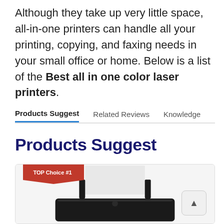Although they take up very little space, all-in-one printers can handle all your printing, copying, and faxing needs in your small office or home. Below is a list of the Best all in one color laser printers.
Products Suggest | Related Reviews | Knowledge
Products Suggest
[Figure (photo): TOP Choice #1 badge over a product card showing a black all-in-one printer with paper loaded, on a white/light gray background]